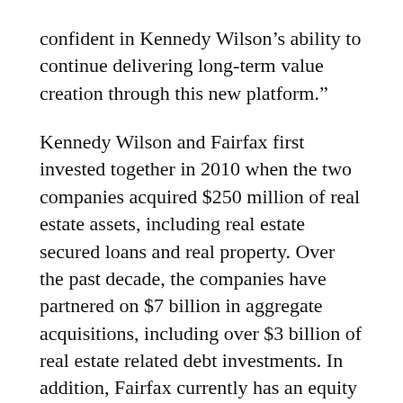confident in Kennedy Wilson’s ability to continue delivering long-term value creation through this new platform.”
Kennedy Wilson and Fairfax first invested together in 2010 when the two companies acquired $250 million of real estate assets, including real estate secured loans and real property. Over the past decade, the companies have partnered on $7 billion in aggregate acquisitions, including over $3 billion of real estate related debt investments. In addition, Fairfax currently has an equity ownership interest in Kennedy Wilson of approximately 9%.